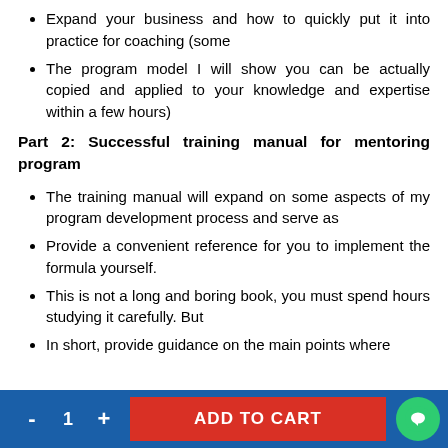Expand your business and how to quickly put it into practice for coaching (some
The program model I will show you can be actually copied and applied to your knowledge and expertise within a few hours)
Part 2: Successful training manual for mentoring program
The training manual will expand on some aspects of my program development process and serve as
Provide a convenient reference for you to implement the formula yourself.
This is not a long and boring book, you must spend hours studying it carefully. But
In short, provide guidance on the main points where
- 1 + ADD TO CART